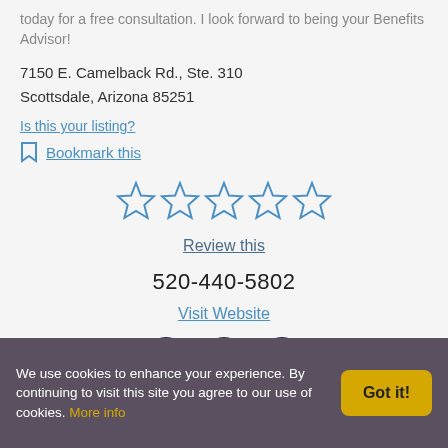today for a free consultation. I look forward to being your Benefits Advisor!
7150 E. Camelback Rd., Ste. 310
Scottsdale, Arizona 85251
Is this your listing?
Bookmark this
[Figure (other): Five empty/outline star rating icons in blue]
Review this
520-440-5802
Visit Website
[Figure (other): Social media icons: Facebook, Twitter, Google — dark navy circular buttons]
We use cookies to enhance your experience. By continuing to visit this site you agree to our use of cookies. More info